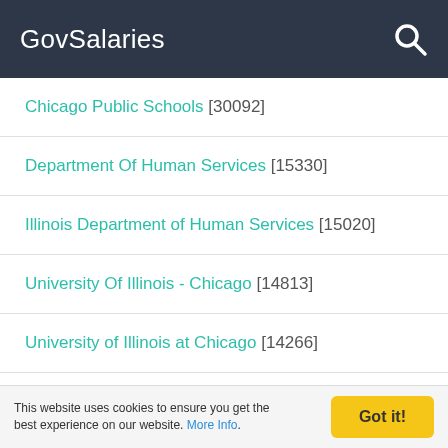GovSalaries
Chicago Public Schools [30092]
Department Of Human Services [15330]
Illinois Department of Human Services [15020]
University Of Illinois - Chicago [14813]
University of Illinois at Chicago [14266]
Chicago Police Department [13876]
Illinois Department of Corrections [13414]
University Of Illinois - Urbana [13005]
This website uses cookies to ensure you get the best experience on our website. More Info.